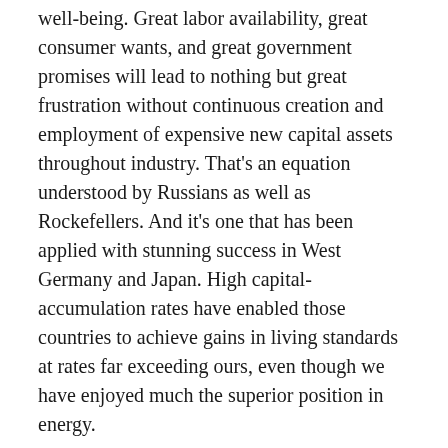well-being. Great labor availability, great consumer wants, and great government promises will lead to nothing but great frustration without continuous creation and employment of expensive new capital assets throughout industry. That's an equation understood by Russians as well as Rockefellers. And it's one that has been applied with stunning success in West Germany and Japan. High capital-accumulation rates have enabled those countries to achieve gains in living standards at rates far exceeding ours, even though we have enjoyed much the superior position in energy.
To understand the impact of inflation upon real capital accumulation, a little math is required. Come back for a moment to that 12 percent return on equity capital. Such earnings are stated after depreciation, which presumably will allow replacement of present productive capacity – if that plant and equipment can be purchased in the future at